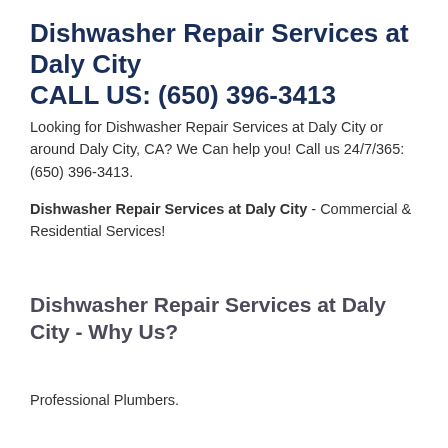Dishwasher Repair Services at Daly City
CALL US: (650) 396-3413
Looking for Dishwasher Repair Services at Daly City or around Daly City, CA? We Can help you! Call us 24/7/365: (650) 396-3413.
Dishwasher Repair Services at Daly City - Commercial & Residential Services!
Dishwasher Repair Services at Daly City - Why Us?
Professional Plumbers.